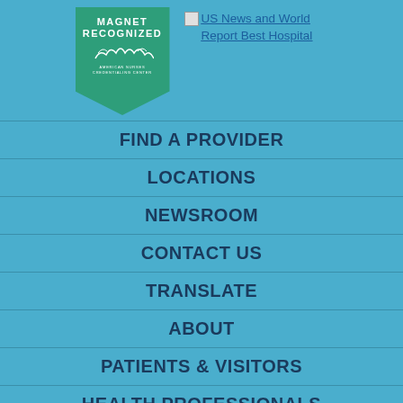[Figure (logo): Magnet Recognized American Nurses Credentialing Center badge - green pentagon/chevron shape with white text and leaf/wheat design]
US News and World Report Best Hospital
FIND A PROVIDER
LOCATIONS
NEWSROOM
CONTACT US
TRANSLATE
ABOUT
PATIENTS & VISITORS
HEALTH PROFESSIONALS